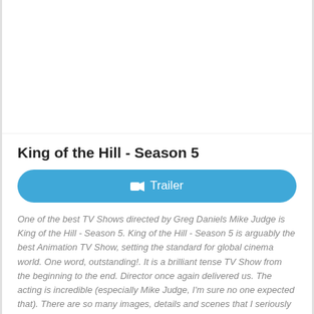[Figure (other): Blank white image area placeholder at top of page]
King of the Hill - Season 5
Trailer
One of the best TV Shows directed by Greg Daniels Mike Judge is King of the Hill - Season 5. King of the Hill - Season 5 is arguably the best Animation TV Show, setting the standard for global cinema world. One word, outstanding!. It is a brilliant tense TV Show from the beginning to the end. Director once again delivered us. The acting is incredible (especially Mike Judge, I'm sure no one expected that). There are so many images, details and scenes that I seriously cannot get out of my head since watching it for the first time. I'm sure that King of the Hill - Season 5 will continue to live with humanity. I can't stop thinking about it today, I certainly